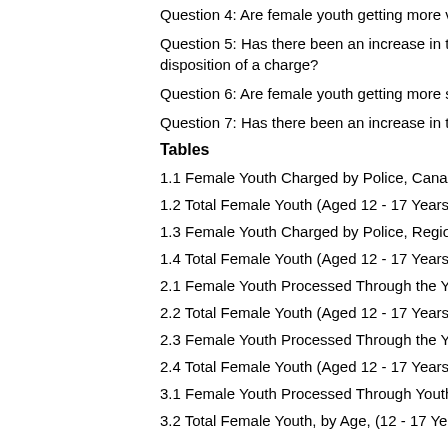Question 4: Are female youth getting more violent...
Question 5: Has there been an increase in the frequency of... disposition of a charge?
Question 6: Are female youth getting more serious...
Question 7: Has there been an increase in the nu...
Tables
1.1 Female Youth Charged by Police, Canada
1.2 Total Female Youth (Aged 12 - 17 Years) Pop...
1.3 Female Youth Charged by Police, Regions
1.4 Total Female Youth (Aged 12 - 17 Years) Pop...
2.1 Female Youth Processed Through the Youth C...
2.2 Total Female Youth (Aged 12 - 17 Years) Pop...
2.3 Female Youth Processed Through the Youth C...
2.4 Total Female Youth (Aged 12 - 17 Years) Pop...
3.1 Female Youth Processed Through Youth Cou...
3.2 Total Female Youth, by Age, (12 - 17 Years) P...